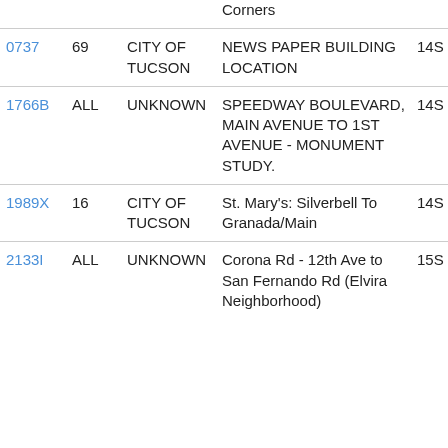| ID | Ward | Owner | Description | Code |
| --- | --- | --- | --- | --- |
|  |  |  | Corners |  |
| 0737 | 69 | CITY OF TUCSON | NEWS PAPER BUILDING LOCATION | 14S |
| 1766B | ALL | UNKNOWN | SPEEDWAY BOULEVARD, MAIN AVENUE TO 1ST AVENUE - MONUMENT STUDY. | 14S |
| 1989X | 16 | CITY OF TUCSON | St. Mary's: Silverbell To Granada/Main | 14S |
| 2133I | ALL | UNKNOWN | Corona Rd - 12th Ave to San Fernando Rd (Elvira Neighborhood) | 15S |